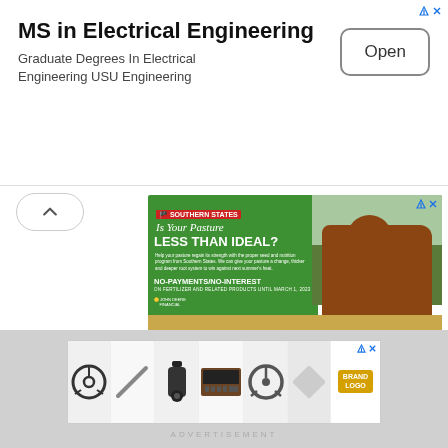[Figure (illustration): Advertisement banner for MS in Electrical Engineering. Shows title text, subtitle 'Graduate Degrees In Electrical Engineering USU Engineering', and an 'Open' button. Has an ad badge in top right.]
[Figure (illustration): Southern States advertisement showing a brown cow in a green field. Text reads 'Is Your Pasture LESS THAN IDEAL?' with body copy about pasture improvement and 'NO-PAYMENTS/NO-INTEREST ON FERTILIZER AND RELATED PRODUCTS UNTIL MARCH 1, 2023' with John Deere Financial logo. Footer: southernstates.com/fallpasture]
[Figure (illustration): Bottom advertisement strip showing multiple product images including steering wheels, a bottle/spray, an electronic device, and other automotive/hardware items. Brand logo visible on right side.]
ADVERTISEMENT